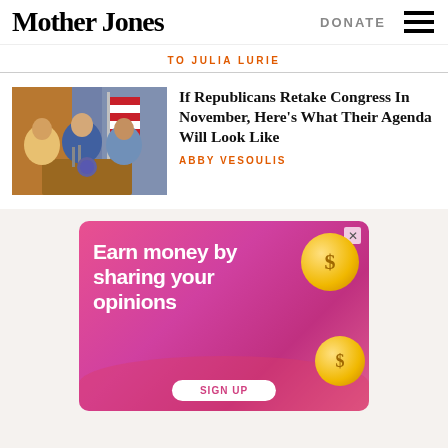Mother Jones
DONATE
TO JULIA LURIE
If Republicans Retake Congress In November, Here’s What Their Agenda Will Look Like
ABBY VESOULIS
[Figure (photo): Politicians standing at a podium with American flags in the background]
[Figure (infographic): Advertisement: Earn money by sharing your opinions, with gold coin graphics on a pink/red background]